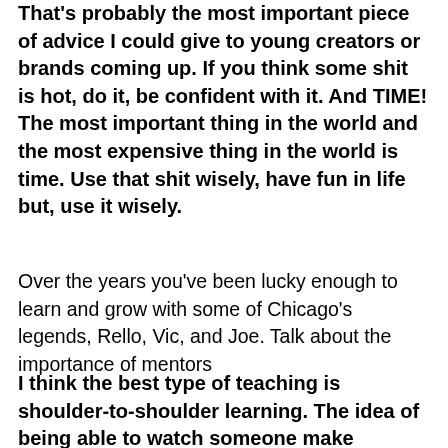That's probably the most important piece of advice I could give to young creators or brands coming up. If you think some shit is hot, do it, be confident with it. And TIME! The most important thing in the world and the most expensive thing in the world is time. Use that shit wisely, have fun in life but, use it wisely.
Over the years you've been lucky enough to learn and grow with some of Chicago's legends, Rello, Vic, and Joe. Talk about the importance of mentors
I think the best type of teaching is shoulder-to-shoulder learning. The idea of being able to watch someone make mistakes, watch them